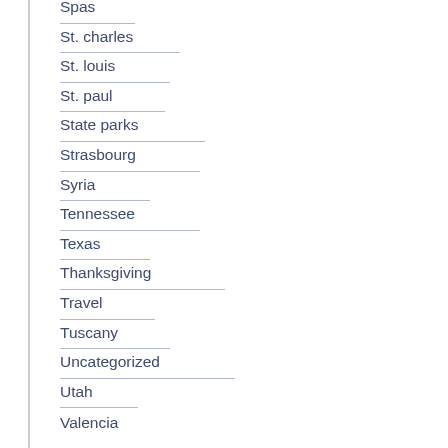Spas
St. charles
St. louis
St. paul
State parks
Strasbourg
Syria
Tennessee
Texas
Thanksgiving
Travel
Tuscany
Uncategorized
Utah
Valencia